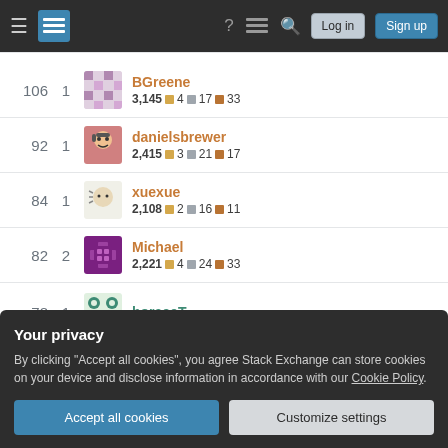[Figure (screenshot): Stack Exchange navigation bar with hamburger menu, logo, help icon, chat icon, search icon, Log in button, and Sign up button]
106  1  BGreene  3,145  4  17  33
92  1  danielsbrewer  2,415  3  21  17
84  1  xuexue  2,108  2  16  11
82  2  Michael  2,221  4  24  33
78  1  horaceT
Your privacy
By clicking "Accept all cookies", you agree Stack Exchange can store cookies on your device and disclose information in accordance with our Cookie Policy.
62  1  sharper image